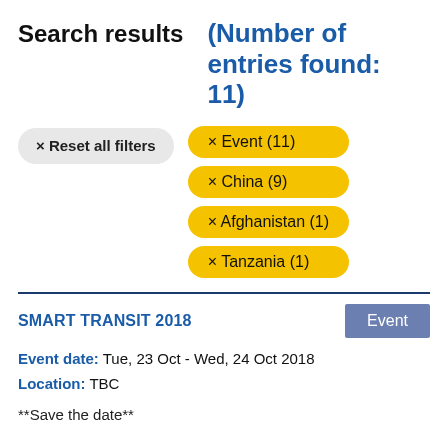Search results (Number of entries found: 11)
× Reset all filters
× Event (11)
× China (9)
× Afghanistan (1)
× Tanzania (1)
SMART TRANSIT 2018
Event
Event date:   Tue, 23 Oct - Wed, 24 Oct 2018
Location:   TBC
**Save the date**